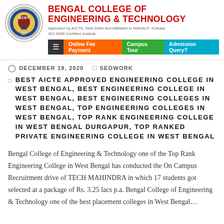[Figure (logo): Bengal College of Engineering & Technology logo — circular emblem with college crest]
BENGAL COLLEGE OF ENGINEERING & TECHNOLOGY
Approved by AICTE, New Delhi and Affiliated to MAKAUT, Kolkata
ISO 9008 Certified Institute
≡  Online Fee Payment  Campus Tour  Admission Query?
DECEMBER 19, 2020   SEOWORK
BEST AICTE APPROVED ENGINEERING COLLEGE IN WEST BENGAL, BEST ENGINEERING COLLEGE IN WEST BENGAL, BEST ENGINEERING COLLEGES IN WEST BENGAL, TOP ENGINEERING COLLEGES IN WEST BENGAL, TOP RANK ENGINEERING COLLEGE IN WEST BENGAL DURGAPUR, TOP RANKED PRIVATE ENGINEERING COLLEGE IN WEST BENGAL
Bengal College of Engineering & Technology one of the Top Rank Engineering College in West Bengal has conducted the On Campus Recruitment drive of TECH MAHINDRA in which 17 students got selected at a package of Rs. 3.25 lacs p.a. Bengal College of Engineering & Technology one of the best placement colleges in West Bengal...